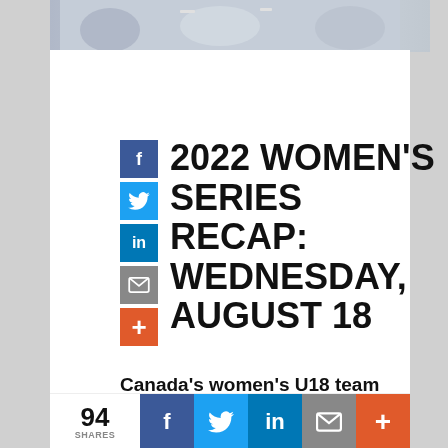[Figure (photo): Top strip showing hockey players in action, partially cropped]
2022 WOMEN'S SERIES RECAP: WEDNESDAY, AUGUST 18
Canada's women's U18 team secured its series while the development team dropped the middle game of its series.
August 18, 2022
94 SHARES